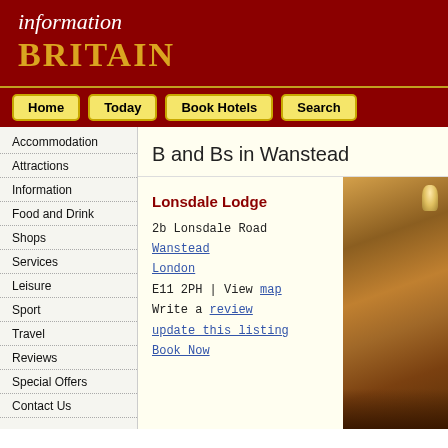information BRITAIN
Home | Today | Book Hotels | Search
Accommodation
Attractions
Information
Food and Drink
Shops
Services
Leisure
Sport
Travel
Reviews
Special Offers
Contact Us
B and Bs in Wanstead
Lonsdale Lodge
2b Lonsdale Road
Wanstead
London
E11 2PH | View map
Write a review
update this listing
Book Now
[Figure (photo): Photo of a hotel room interior showing a bed with warm lighting]